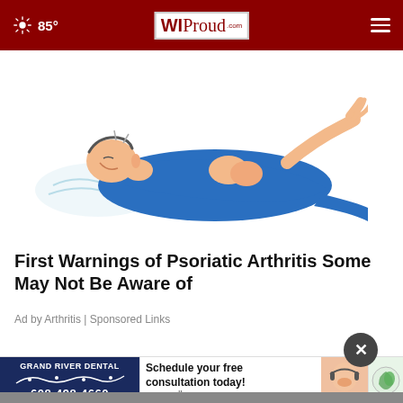85° | WI Proud
[Figure (illustration): Illustration of a person lying on their back in a blue outfit, appearing to be in pain or discomfort, suggesting arthritis symptoms]
First Warnings of Psoriatic Arthritis Some May Not Be Aware of
Ad by Arthritis | Sponsored Links
[Figure (screenshot): Close button (X) in dark circle overlaid on content]
[Figure (infographic): Grand River Dental advertisement banner: Schedule your free consultation today! 608-498-4660 www.grdlacrosse.com]